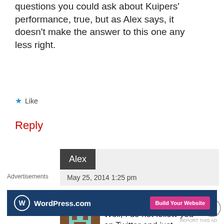questions you could ask about Kuipers' performance, true, but as Alex says, it doesn't make the answer to this one any less right.
Like
Reply
Alex
May 25, 2014 1:25 pm
[Figure (illustration): Pixel art avatar icon in brown and light blue colors]
Well, I do not follow you on Twitter and just
Advertisements
[Figure (screenshot): WordPress.com advertisement banner with Build Your Website button]